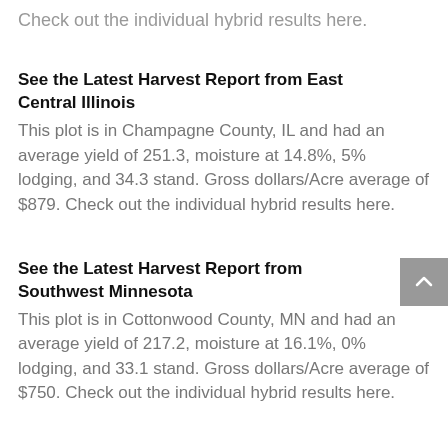Check out the individual hybrid results here.
See the Latest Harvest Report from East Central Illinois
This plot is in Champagne County, IL and had an average yield of 251.3, moisture at 14.8%, 5% lodging, and 34.3 stand. Gross dollars/Acre average of $879. Check out the individual hybrid results here.
See the Latest Harvest Report from Southwest Minnesota
This plot is in Cottonwood County, MN and had an average yield of 217.2, moisture at 16.1%, 0% lodging, and 33.1 stand. Gross dollars/Acre average of $750. Check out the individual hybrid results here.
See the Latest Harvest Report from East Central Illinois